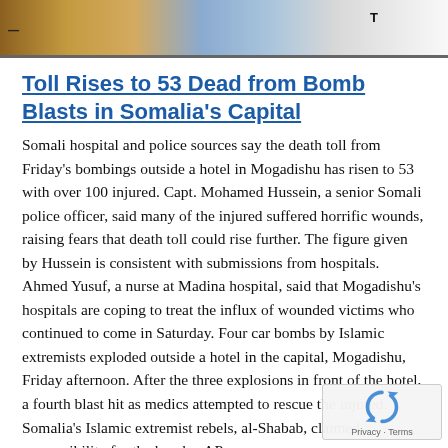[Figure (photo): Cropped photo strip showing people in the background, partially visible at the top of the page]
Toll Rises to 53 Dead from Bomb Blasts in Somalia's Capital
Somali hospital and police sources say the death toll from Friday's bombings outside a hotel in Mogadishu has risen to 53 with over 100 injured. Capt. Mohamed Hussein, a senior Somali police officer, said many of the injured suffered horrific wounds, raising fears that death toll could rise further. The figure given by Hussein is consistent with submissions from hospitals. Ahmed Yusuf, a nurse at Madina hospital, said that Mogadishu's hospitals are coping to treat the influx of wounded victims who continued to come in Saturday. Four car bombs by Islamic extremists exploded outside a hotel in the capital, Mogadishu, Friday afternoon. After the three explosions in front of the hotel, a fourth blast hit as medics attempted to rescue the injured. Somalia's Islamic extremist rebels, al-Shabab, claimed responsibility for the bombs. AP